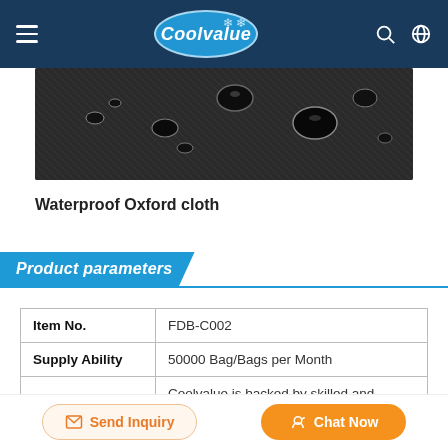Coolvalue — navigation header with hamburger menu, logo, search and globe icons
[Figure (photo): Close-up photo of waterproof Oxford cloth fabric showing water droplets beading on the dark textured surface]
Waterproof Oxford cloth
Product parameters
| Item No. | FDB-C002 |
| Supply Ability | 50000 Bag/Bags per Month |
| Description | Coolvalue is backed by skilled and experienced R&D |
Send Inquiry  |  Chat Now